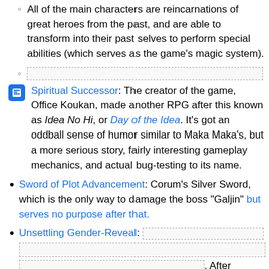All of the main characters are reincarnations of great heroes from the past, and are able to transform into their past selves to perform special abilities (which serves as the game's magic system).
[redacted]
Spiritual Successor: The creator of the game, Office Koukan, made another RPG after this known as Idea No Hi, or Day of the Idea. It's got an oddball sense of humor similar to Maka Maka's, but a more serious story, fairly interesting gameplay mechanics, and actual bug-testing to its name.
Sword of Plot Advancement: Corum's Silver Sword, which is the only way to damage the boss "Galjin" but serves no purpose after that.
Unsettling Gender-Reveal: [redacted]. After defeating Ramonu, the player must use the magical